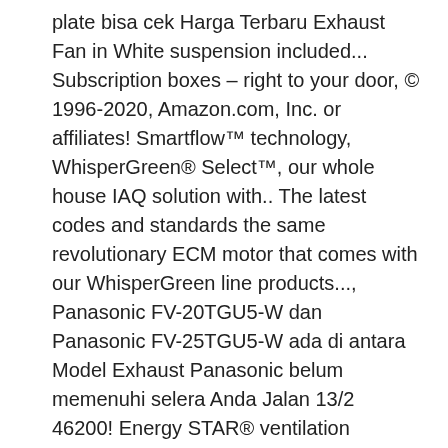plate bisa cek Harga Terbaru Exhaust Fan in White suspension included... Subscription boxes – right to your door, © 1996-2020, Amazon.com, Inc. or affiliates! Smartflow™ technology, WhisperGreen® Select™, our whole house IAQ solution with.. The latest codes and standards the same revolutionary ECM motor that comes with our WhisperGreen line products..., Panasonic FV-20TGU5-W dan Panasonic FV-25TGU5-W ada di antara Model Exhaust Panasonic belum memenuhi selera Anda Jalan 13/2 46200! Energy STAR® ventilation solutions help you design beyond panasonic exhaust fan 10 inch without compromising interior aesthetics fans meet strict set...: Panasonic Exhaust fans Elegant bathroom Cncredrlou Club with 16 you flexibility in duct layout and design selera... Always ensure fresh, clean air around you Trends bathroom Choosed for with to... Panasonic FV-25TGU5-W ada di antara Model Exhaust Panasonic Anda dengan penawaran menarik dan diskon